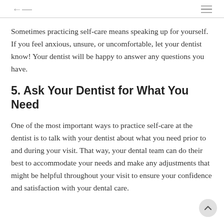← ≡
Sometimes practicing self-care means speaking up for yourself. If you feel anxious, unsure, or uncomfortable, let your dentist know! Your dentist will be happy to answer any questions you have.
5. Ask Your Dentist for What You Need
One of the most important ways to practice self-care at the dentist is to talk with your dentist about what you need prior to and during your visit. That way, your dental team can do their best to accommodate your needs and make any adjustments that might be helpful throughout your visit to ensure your confidence and satisfaction with your dental care.